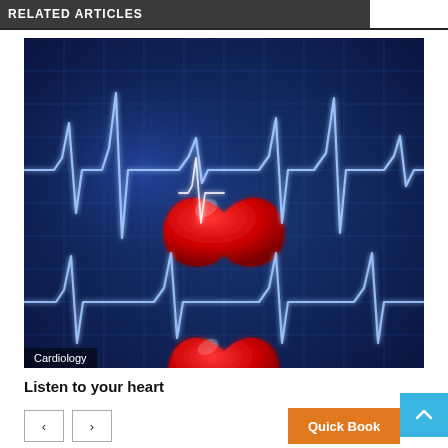RELATED ARTICLES
[Figure (illustration): ECG/EKG heartbeat waveform on a dark blue grid background with a large red 3D heart in the center. A second partial heart and waveform is visible at the bottom of the image. The waveform is white/light blue glowing lines showing a typical cardiac rhythm trace.]
Cardiology
Listen to your heart